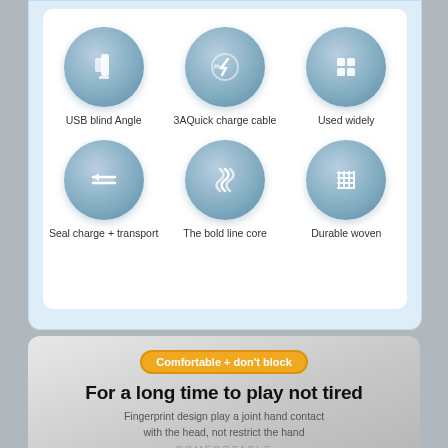[Figure (infographic): Blue circle icon with USB plug symbol]
[Figure (infographic): Blue circle icon with lightning/quick charge symbol]
[Figure (infographic): Blue circle icon with four squares grid symbol]
[Figure (infographic): Blue circle icon with double arrow seal symbol]
[Figure (infographic): Blue circle icon with wavy lines bold core symbol]
[Figure (infographic): Blue circle icon with woven grid/mesh symbol]
Comfortable + don't block
For a long time to play not tired
Fingerprint design play a joint hand contact with the head, not restrict the hand
COMFORTABLE